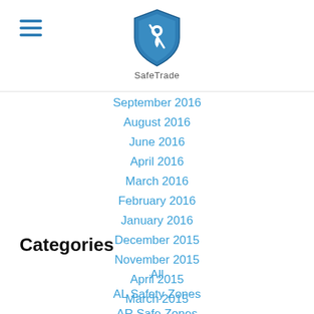[Figure (logo): SafeTrade shield logo with location pin icon and text 'SafeTrade' below]
September 2016
August 2016
June 2016
April 2016
March 2016
February 2016
January 2016
December 2015
November 2015
April 2015
March 2015
January 2015
Categories
All
AL Safety Zones
AR Safe Zones